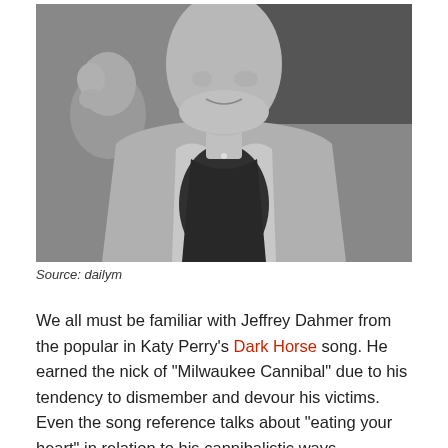[Figure (photo): Black and white photograph of a young man (Jeffrey Dahmer) in a jacket and dark shirt, with another person partially visible behind him to the left.]
Source: dailym
We all must be familiar with Jeffrey Dahmer from the popular in Katy Perry's Dark Horse song. He earned the nick of “Milwaukee Cannibal” due to his tendency to dismember and devour his victims.  Even the song reference talks about “eating your heart” in relation to his cannibalistic ways